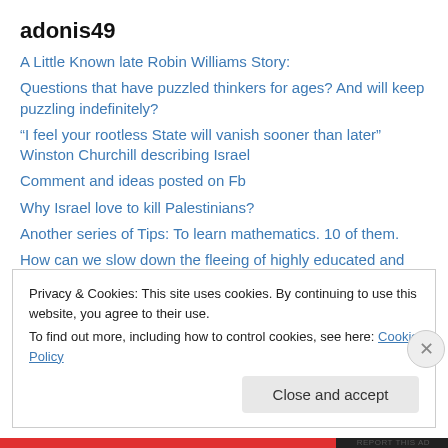adonis49
A Little Known late Robin Williams Story:
Questions that have puzzled thinkers for ages? And will keep puzzling indefinitely?
“I feel your rootless State will vanish sooner than later” Winston Churchill describing Israel
Comment and ideas posted on Fb
Why Israel love to kill Palestinians?
Another series of Tips: To learn mathematics. 10 of them.
How can we slow down the fleeing of highly educated and professional Lebanese?
More tidbits I posted on Fb
Privacy & Cookies: This site uses cookies. By continuing to use this website, you agree to their use.
To find out more, including how to control cookies, see here: Cookie Policy
Close and accept